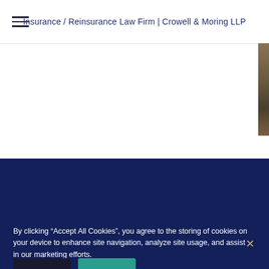Insurance / Reinsurance Law Firm | Crowell & Moring LLP
[Figure (photo): Partial right-edge photo strip showing cropped image, likely a building or people]
[Figure (other): Dark navy blue bracket/sidebar element on right side]
By clicking “Accept All Cookies”, you agree to the storing of cookies on your device to enhance site navigation, analyze site usage, and assist in our marketing efforts.